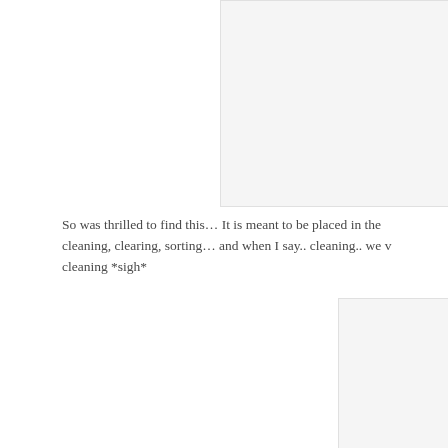[Figure (photo): White/light gray rectangular image card, top right portion of page]
So was thrilled to find this... It is meant to be placed in the cleaning, clearing, sorting... and when I say.. cleaning.. we v cleaning *sigh*
[Figure (photo): White/light gray rectangular image card, bottom right portion of page]